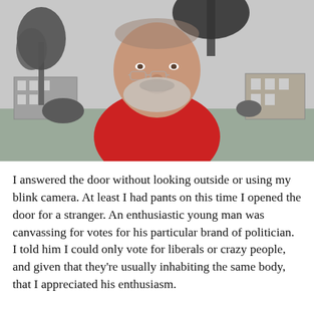[Figure (photo): Black and white outdoor photo of a middle-aged bearded man wearing a bright red t-shirt, smiling at the camera. He has glasses pushed up on his nose. Background shows a park-like setting with grass, trees, and apartment buildings.]
I answered the door without looking outside or using my blink camera. At least I had pants on this time I opened the door for a stranger. An enthusiastic young man was canvassing for votes for his particular brand of politician. I told him I could only vote for liberals or crazy people, and given that they're usually inhabiting the same body, that I appreciated his enthusiasm.